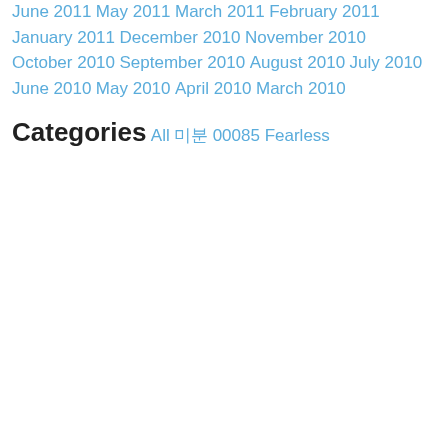June 2011
May 2011
March 2011
February 2011
January 2011
December 2010
November 2010
October 2010
September 2010
August 2010
July 2010
June 2010
May 2010
April 2010
March 2010
Categories
All
미분
00085 Fearless